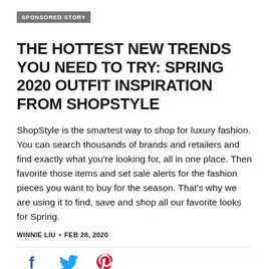SPONSORED STORY
THE HOTTEST NEW TRENDS YOU NEED TO TRY: SPRING 2020 OUTFIT INSPIRATION FROM SHOPSTYLE
ShopStyle is the smartest way to shop for luxury fashion. You can search thousands of brands and retailers and find exactly what you're looking for, all in one place. Then favorite those items and set sale alerts for the fashion pieces you want to buy for the season. That's why we are using it to find, save and shop all our favorite looks for Spring.
WINNIE LIU • FEB 28, 2020
[Figure (infographic): Social media share icons: Facebook (blue), Twitter (blue), Pinterest (red)]
ShopStyle has the most current influencer looks, and the